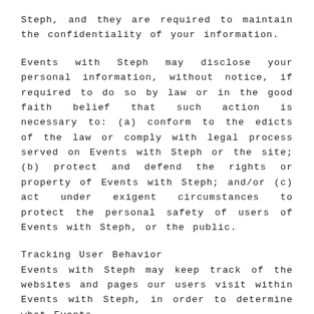Steph, and they are required to maintain the confidentiality of your information.
Events with Steph may disclose your personal information, without notice, if required to do so by law or in the good faith belief that such action is necessary to: (a) conform to the edicts of the law or comply with legal process served on Events with Steph or the site; (b) protect and defend the rights or property of Events with Steph; and/or (c) act under exigent circumstances to protect the personal safety of users of Events with Steph, or the public.
Tracking User Behavior
Events with Steph may keep track of the websites and pages our users visit within Events with Steph, in order to determine what Events